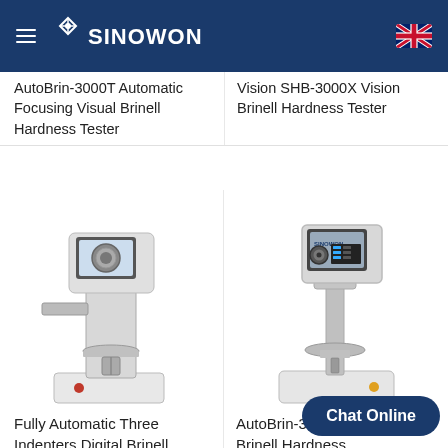SINOWON
AutoBrin-3000T Automatic Focusing Visual Brinell Hardness Tester
Vision SHB-3000X Vision Brinell Hardness Tester
[Figure (photo): Photo of a Fully Automatic Three Indenters Digital Brinell Hardness Tester — white machine with screen and adjustable stage]
[Figure (photo): Photo of an AutoBrin-3000 Touch Vision Brinell Hardness tester — white machine with large monitor and column stand, Sinowon branded]
Fully Automatic Three Indenters Digital Brinell Hardness Tester
AutoBrin-300 Touch Vision Brinell Hardness